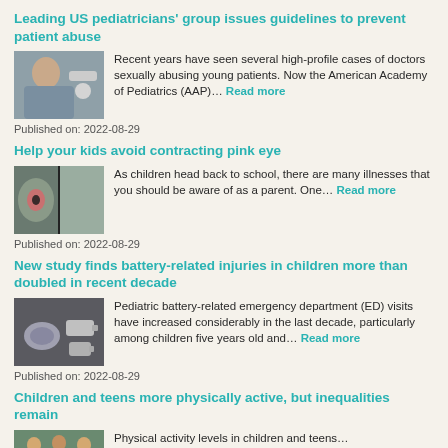Leading US pediatricians' group issues guidelines to prevent patient abuse
[Figure (photo): Child patient being examined by a doctor]
Recent years have seen several high-profile cases of doctors sexually abusing young patients. Now the American Academy of Pediatrics (AAP)… Read more
Published on: 2022-08-29
Help your kids avoid contracting pink eye
[Figure (photo): Close-up of a child's eye with pink eye]
As children head back to school, there are many illnesses that you should be aware of as a parent. One… Read more
Published on: 2022-08-29
New study finds battery-related injuries in children more than doubled in recent decade
[Figure (photo): Various batteries on a surface]
Pediatric battery-related emergency department (ED) visits have increased considerably in the last decade, particularly among children five years old and… Read more
Published on: 2022-08-29
Children and teens more physically active, but inequalities remain
[Figure (photo): Children being physically active outdoors]
Physical activity levels in children and teens… Read more